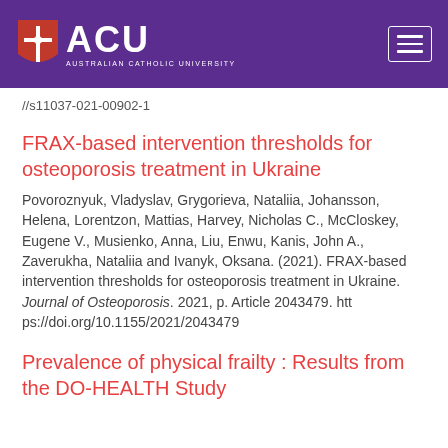[Figure (logo): ACU (Australian Catholic University) logo with shield icon on purple header bar, plus hamburger menu icon on the right]
//s11037-021-00902-1
FRAX-based intervention thresholds for osteoporosis treatment in Ukraine
Povoroznyuk, Vladyslav, Grygorieva, Nataliia, Johansson, Helena, Lorentzon, Mattias, Harvey, Nicholas C., McCloskey, Eugene V., Musienko, Anna, Liu, Enwu, Kanis, John A., Zaverukha, Nataliia and Ivanyk, Oksana. (2021). FRAX-based intervention thresholds for osteoporosis treatment in Ukraine. Journal of Osteoporosis. 2021, p. Article 2043479. https://doi.org/10.1155/2021/2043479
Prevalence of physical frailty : Results from the DO-HEALTH Study